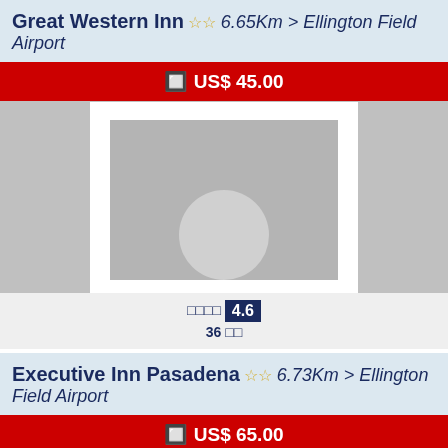Great Western Inn ★★ 6.65Km > Ellington Field Airport
🔲 US$ 45.00
[Figure (photo): Hotel photo placeholder for Great Western Inn, grey background with white frame containing grey inner area with circle shape at bottom]
□□□□ 4.6 / 36 □□
Executive Inn Pasadena ★★ 6.73Km > Ellington Field Airport
🔲 US$ 65.00